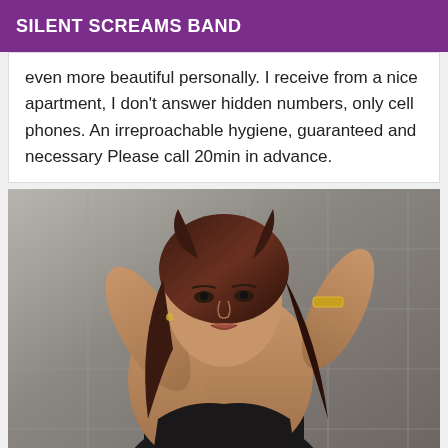SILENT SCREAMS BAND
even more beautiful personally. I receive from a nice apartment, I don't answer hidden numbers, only cell phones. An irreproachable hygiene, guaranteed and necessary Please call 20min in advance.
[Figure (photo): Portrait photo of a woman with dark brown hair, wearing a black outfit and gold bracelet, posed with arms raised behind her head against a metallic background.]